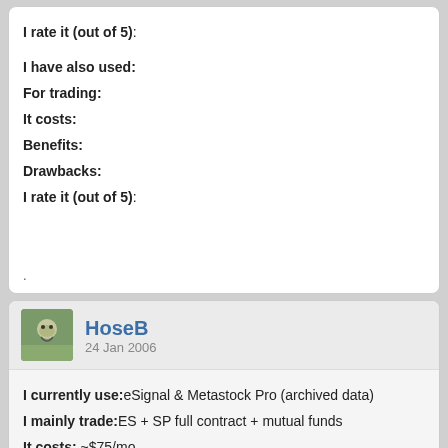I rate it (out of 5):
I have also used:
For trading:
It costs:
Benefits:
Drawbacks:
I rate it (out of 5):
.
HoseB
24 Jan 2006
I currently use: eSignal & Metastock Pro (archived data)
I mainly trade: ES + SP full contract + mutual funds
It costs: ~$75/mo
Benefits: Reliability, ease of operation
Drawbacks: None, for me
I rate it (out of 5): ~5.